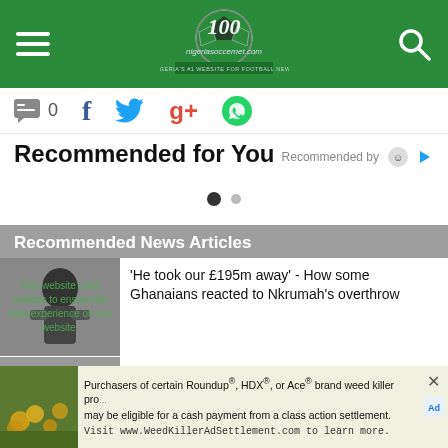nigeriasoccernet.com — Nigeria's #1 website for football news
0  [Facebook] [Twitter] [Google+] [WhatsApp]
Recommended for You
Recommended by [icon]
[Figure (other): Carousel navigation dots — one filled black dot and one grey dot]
Recommended News Articles
'He took our £195m away' - How some Ghanaians reacted to Nkrumah's overthrow
Ghanaian midfielder Kudus Mohammed heading to Everton
Purchasers of certain Roundup®, HDX®, or Ace® brand weed killer products may be eligible for a cash payment from a class action settlement. Visit www.WeedKillerAdSettlement.com to learn more.